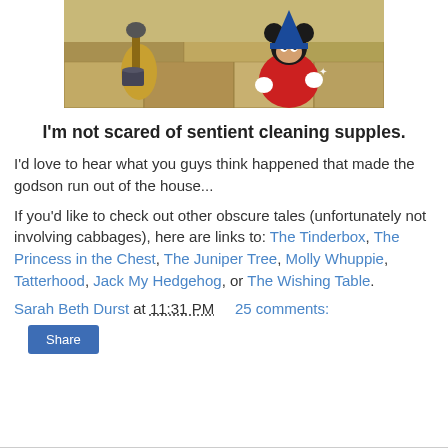[Figure (illustration): Animation still from Fantasia showing Mickey Mouse in a red sorcerer robe and broom/mop characters on a stone floor background]
I'm not scared of sentient cleaning supples.
I'd love to hear what you guys think happened that made the godson run out of the house...
If you'd like to check out other obscure tales (unfortunately not involving cabbages), here are links to: The Tinderbox, The Princess in the Chest, The Juniper Tree, Molly Whuppie, Tatterhood, Jack My Hedgehog, or The Wishing Table.
Sarah Beth Durst at 11:31 PM    25 comments:
Share